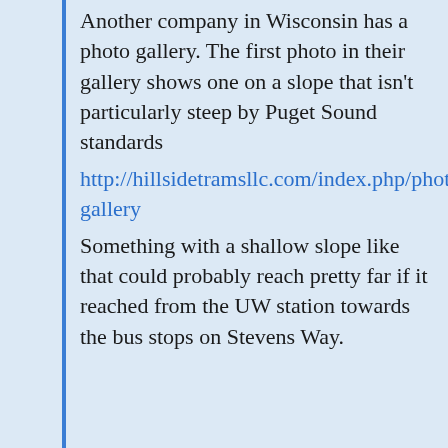Another company in Wisconsin has a photo gallery. The first photo in their gallery shows one on a slope that isn't particularly steep by Puget Sound standards http://hillsidetramsllc.com/index.php/photo-gallery Something with a shallow slope like that could probably reach pretty far if it reached from the UW station towards the bus stops on Stevens Way.
Laura Dodson
APRIL 15, 2015 AT 2:40 PM
I've been on one in Italy. It was pretty ancient, moved slowly, but was great for going up the steep